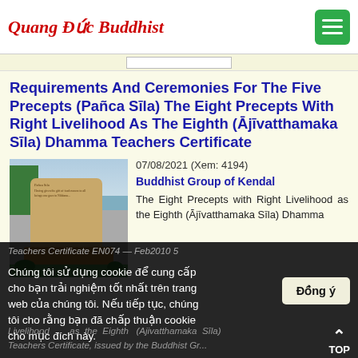Quang Duc Buddhist
Requirements And Ceremonies For The Five Precepts (Pañca Sīla) The Eight Precepts With Right Livelihood As The Eighth (Ājīvatthamaka Sīla) Dhamma Teachers Certificate
[Figure (photo): Stone monument with Buddhist text inscription, set in a park near water, with trees and grass surroundings.]
07/08/2021 (Xem: 4194)
Buddhist Group of Kendal
The Eight Precepts with Right Livelihood as the Eighth (Ājīvatthamaka Sīla) Dhamma
Teachers Certificate EN074 — Feb2010 5...
Chúng tôi sử dụng cookie để cung cấp cho bạn trải nghiệm tốt nhất trên trang web của chúng tôi. Nếu tiếp tục, chúng tôi cho rằng bạn đã chấp thuận cookie cho mục đích này.
Đồng ý
Livelihood as the Eighth (Ajivatthamaka Sila)
Teachers Certificate, issued by the Buddhist Gr...